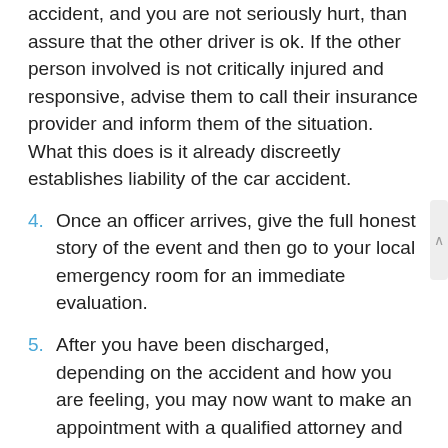accident, and you are not seriously hurt, than assure that the other driver is ok. If the other person involved is not critically injured and responsive, advise them to call their insurance provider and inform them of the situation. What this does is it already discreetly establishes liability of the car accident.
4.  Once an officer arrives, give the full honest story of the event and then go to your local emergency room for an immediate evaluation.
5.  After you have been discharged, depending on the accident and how you are feeling, you may now want to make an appointment with a qualified attorney and your medical provider.
Sometimes you may not actually feel a thing right away right after your accident because your adrenaline may be pumping through your body so much. You may feel “just fine”, but the next